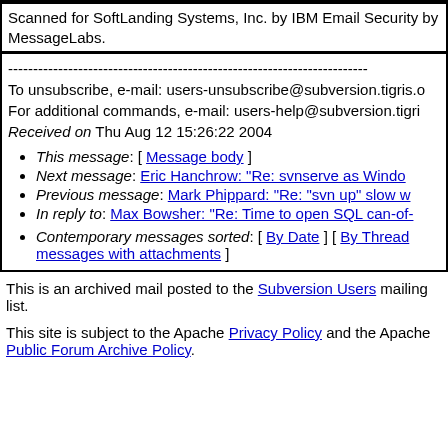Scanned for SoftLanding Systems, Inc. by IBM Email Security by MessageLabs.
------------------------------------------------------------------------
To unsubscribe, e-mail: users-unsubscribe@subversion.tigris.o
For additional commands, e-mail: users-help@subversion.tigri
Received on Thu Aug 12 15:26:22 2004
This message: [ Message body ]
Next message: Eric Hanchrow: "Re: svnserve as Windo
Previous message: Mark Phippard: "Re: "svn up" slow w
In reply to: Max Bowsher: "Re: Time to open SQL can-of-
Contemporary messages sorted: [ By Date ] [ By Thread ] messages with attachments ]
This is an archived mail posted to the Subversion Users mailing list.
This site is subject to the Apache Privacy Policy and the Apache Public Forum Archive Policy.